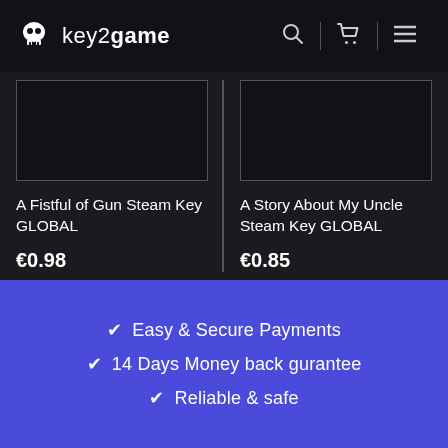key2game
[Figure (screenshot): Product image placeholder for A Fistful of Gun Steam Key GLOBAL — dark box with border]
A Fistful of Gun Steam Key GLOBAL
€0.98
[Figure (screenshot): Product image placeholder for A Story About My Uncle Steam Key GLOBAL — dark box with border]
A Story About My Uncle Steam Key GLOBAL
€0.85
✔ Easy & Secure Payments
✔ 14 Days Money back gurantee
✔ Reliable & safe